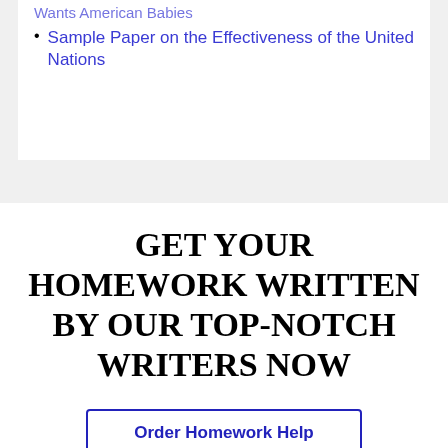Sample Paper on the Effectiveness of the United Nations
GET YOUR HOMEWORK WRITTEN BY OUR TOP-NOTCH WRITERS NOW
Order Homework Help
Chat with us